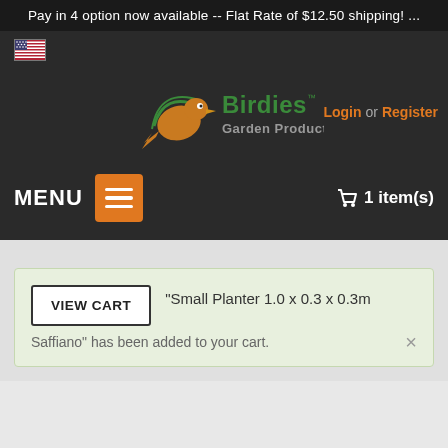Pay in 4 option now available -- Flat Rate of $12.50 shipping! ...
[Figure (screenshot): US flag icon in header navigation area]
[Figure (logo): Birdies Garden Products logo with bird illustration in green and orange]
Login or Register
MENU
1 item(s)
“Small Planter 1.0 x 0.3 x 0.3m Saffiano” has been added to your cart.